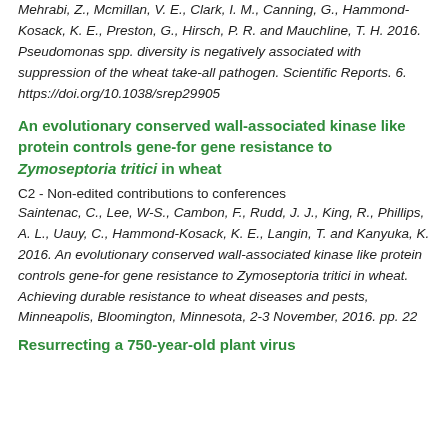Mehrabi, Z., Mcmillan, V. E., Clark, I. M., Canning, G., Hammond-Kosack, K. E., Preston, G., Hirsch, P. R. and Mauchline, T. H. 2016. Pseudomonas spp. diversity is negatively associated with suppression of the wheat take-all pathogen. Scientific Reports. 6. https://doi.org/10.1038/srep29905
An evolutionary conserved wall-associated kinase like protein controls gene-for gene resistance to Zymoseptoria tritici in wheat
C2 - Non-edited contributions to conferences
Saintenac, C., Lee, W-S., Cambon, F., Rudd, J. J., King, R., Phillips, A. L., Uauy, C., Hammond-Kosack, K. E., Langin, T. and Kanyuka, K. 2016. An evolutionary conserved wall-associated kinase like protein controls gene-for gene resistance to Zymoseptoria tritici in wheat. Achieving durable resistance to wheat diseases and pests, Minneapolis, Bloomington, Minnesota, 2-3 November, 2016. pp. 22
Resurrecting a 750-year-old plant virus